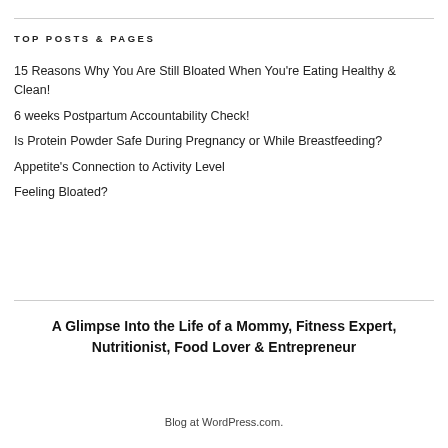TOP POSTS & PAGES
15 Reasons Why You Are Still Bloated When You're Eating Healthy & Clean!
6 weeks Postpartum Accountability Check!
Is Protein Powder Safe During Pregnancy or While Breastfeeding?
Appetite's Connection to Activity Level
Feeling Bloated?
A Glimpse Into the Life of a Mommy, Fitness Expert, Nutritionist, Food Lover & Entrepreneur
Blog at WordPress.com.